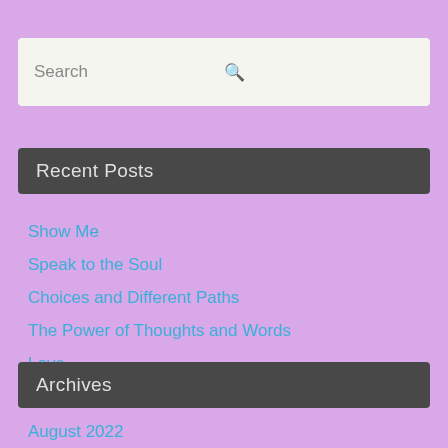Search
Recent Posts
Show Me
Speak to the Soul
Choices and Different Paths
The Power of Thoughts and Words
Love
Archives
August 2022